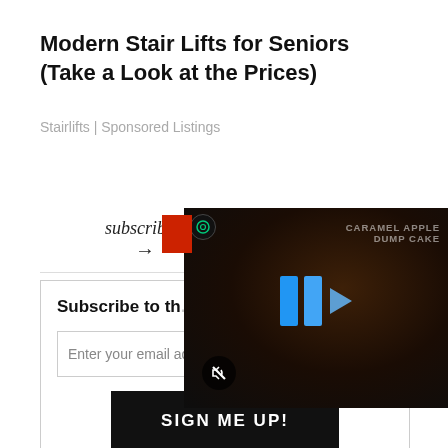Modern Stair Lifts for Seniors (Take a Look at the Prices)
Stairlifts | Sponsored Listings
subscribe!
Subscribe to th...
Enter your email address...
SIGN ME UP!
[Figure (screenshot): Video overlay showing a food dish (caramel apple dump cake) with blue play/pause bars icon, mute button, and text 'CARAMEL APPLE DUMP CAKE']